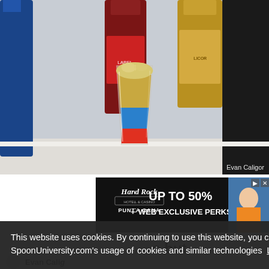[Figure (photo): A shot glass containing a layered drink with red at the bottom, blue in the middle, and golden/cream colored top, surrounded by various liquor bottles in the background on a counter. Photo credit: Evan Caligor]
Evan Caligor
[Figure (screenshot): Hard Rock Hotel & Casino Punta Cana advertisement banner: UP TO 50% + WEB EXCLUSIVE PERKS with play/close controls]
This website uses cookies. By continuing to use this website, you consent to SpoonUniversity.com's usage of cookies and similar technologies Learn more
Got it!
s but ream
alloween in